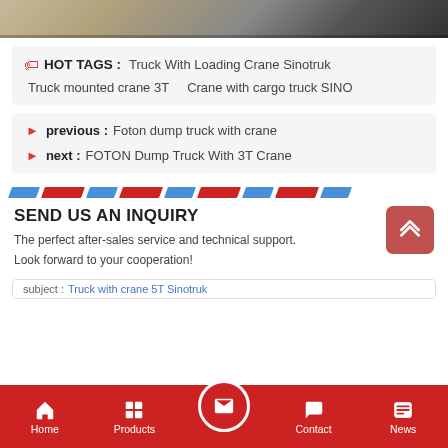[Figure (photo): Top portion of a truck/crane vehicle image, partially visible]
HOT TAGS : Truck With Loading Crane Sinotruk
Truck mounted crane 3T   Crane with cargo truck SINO
previous : Foton dump truck with crane
next : FOTON Dump Truck With 3T Crane
SEND US AN INQUIRY
The perfect after-sales service and technical support. Look forward to your cooperation!
subject : Truck with crane 5T Sinotruk
Home   Products   [mail]   Contact   News